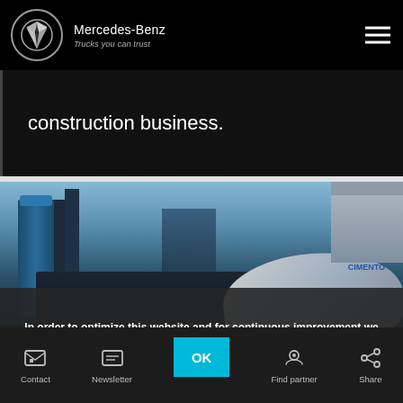Mercedes-Benz — Trucks you can trust
construction business.
[Figure (photo): Mercedes-Benz truck at a construction site with city buildings in background, blue silos and a cement mixer truck visible]
In order to optimize this website and for continuous improvement we use cookies.
We only use cookies that are necessary for the basic functions of this website.
For more information, please refer to our Cookie Statement.
Contact | Newsletter | OK | Find partner | Share